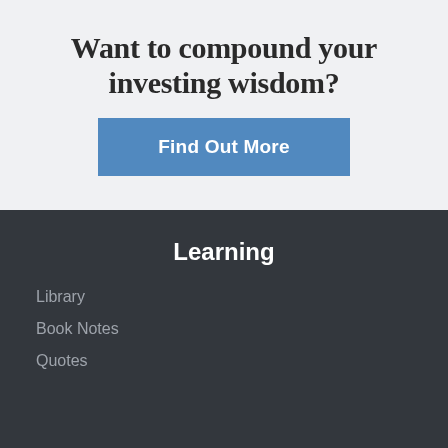Want to compound your investing wisdom?
Find Out More
Learning
Library
Book Notes
Quotes